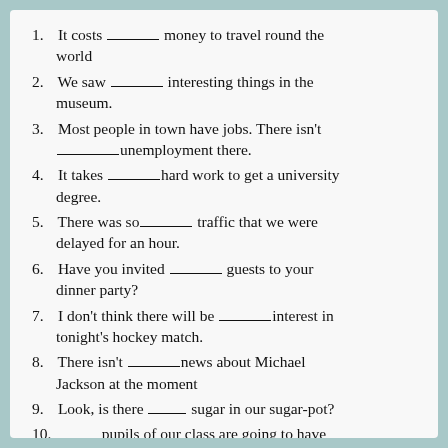1. It costs ________ money to travel round the world
2. We saw ________ interesting things in the museum.
3. Most people in town have jobs. There isn't ________unemployment there.
4. It takes ________hard work to get a university degree.
5. There was so________ traffic that we were delayed for an hour.
6. Have you invited ________ guests to your dinner party?
7. I don't think there will be ________interest in tonight's hockey match.
8. There isn't ________news about Michael Jackson at the moment
9. Look, is there ________ sugar in our sugar-pot?
10. ________ pupils of our class are going to have